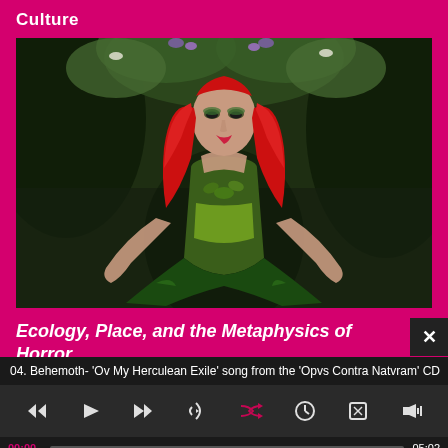Culture
[Figure (photo): Woman with long red hair wearing a green botanical corset dress, posed in a dark forest setting with flowers and foliage behind her]
Ecology, Place, and the Metaphysics of Horror
04. Behemoth- 'Ov My Herculean Exile' song from the 'Opvs Contra Natvram' CD
00:00   05:02